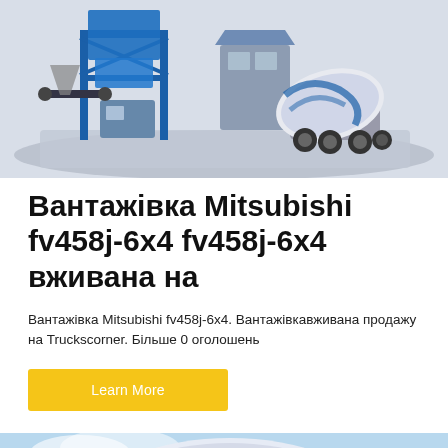[Figure (photo): 3D render of a concrete batching/mixing plant in blue steel structure with a concrete mixer truck (blue and white) parked beside it, set on a grey platform. Industrial construction equipment scene.]
Вантажівка Mitsubishi fv458j-6x4 fv458j-6x4 вживана на
Вантажівка Mitsubishi fv458j-6x4. Вантажівкавживана продажу на Truckscorner. Більше 0 оголошень
Learn More
[Figure (photo): Partial view of a blue and white concrete mixer truck drum on a light blue sky background.]